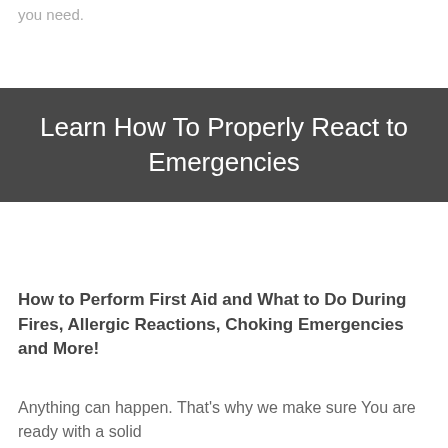you need.
Learn How To Properly React to Emergencies
How to Perform First Aid and What to Do During Fires, Allergic Reactions, Choking Emergencies and More!
Anything can happen. That's why we make sure You are ready with a solid